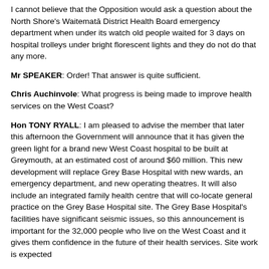I cannot believe that the Opposition would ask a question about the North Shore's Waitematā District Health Board emergency department when under its watch old people waited for 3 days on hospital trolleys under bright florescent lights and they do not do that any more.
Mr SPEAKER: Order! That answer is quite sufficient.
Chris Auchinvole: What progress is being made to improve health services on the West Coast?
Hon TONY RYALL: I am pleased to advise the member that later this afternoon the Government will announce that it has given the green light for a brand new West Coast hospital to be built at Greymouth, at an estimated cost of around $60 million. This new development will replace Grey Base Hospital with new wards, an emergency department, and new operating theatres. It will also include an integrated family health centre that will co-locate general practice on the Grey Base Hospital site. The Grey Base Hospital's facilities have significant seismic issues, so this announcement is important for the 32,000 people who live on the West Coast and it gives them confidence in the future of their health services. Site work is expected